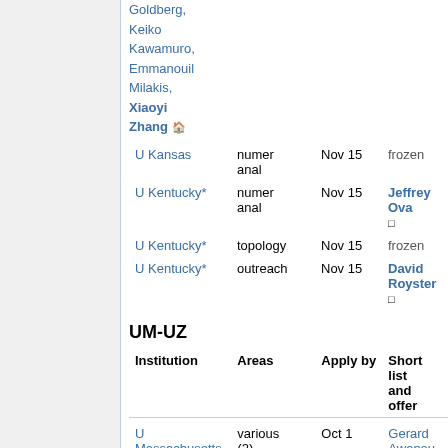Goldberg, Keiko Kawamuro, Emmanouil Milakis, Xiaoyi Zhang
| Institution | Areas | Apply by | Short list and offers |
| --- | --- | --- | --- |
| U Kansas | numer anal | Nov 15 | frozen |
| U Kentucky* | numer anal | Nov 15 | Jeffrey Ova □ |
| U Kentucky* | topology | Nov 15 | frozen |
| U Kentucky* | outreach | Nov 15 | David Royster □ |
UM-UZ
| Institution | Areas | Apply by | Short list and offers |
| --- | --- | --- | --- |
| U Massachusetts, Amherst* | various (2) | Oct 1 | Gerard Awanou, Margaret Beck, Elisenda… |